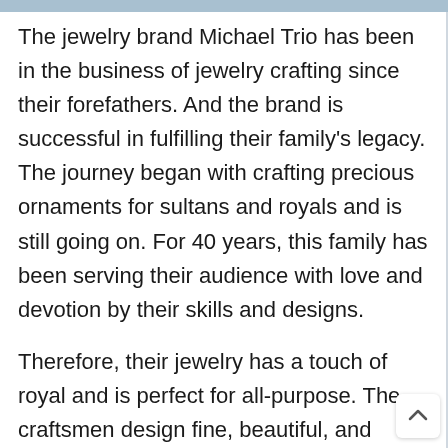The jewelry brand Michael Trio has been in the business of jewelry crafting since their forefathers. And the brand is successful in fulfilling their family's legacy. The journey began with crafting precious ornaments for sultans and royals and is still going on. For 40 years, this family has been serving their audience with love and devotion by their skills and designs.
Therefore, their jewelry has a touch of royal and is perfect for all-purpose. The craftsmen design fine, beautiful, and feminine designs to fit the personality of a wearer. They offer remarkable rates with a significant variety o.